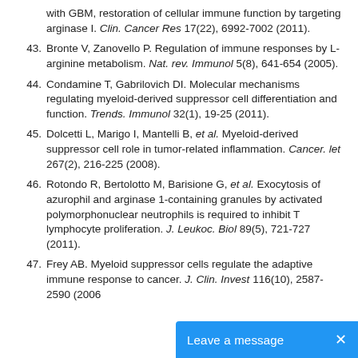with GBM, restoration of cellular immune function by targeting arginase I. Clin. Cancer Res 17(22), 6992-7002 (2011).
43. Bronte V, Zanovello P. Regulation of immune responses by L-arginine metabolism. Nat. rev. Immunol 5(8), 641-654 (2005).
44. Condamine T, Gabrilovich DI. Molecular mechanisms regulating myeloid-derived suppressor cell differentiation and function. Trends. Immunol 32(1), 19-25 (2011).
45. Dolcetti L, Marigo I, Mantelli B, et al. Myeloid-derived suppressor cell role in tumor-related inflammation. Cancer. let 267(2), 216-225 (2008).
46. Rotondo R, Bertolotto M, Barisione G, et al. Exocytosis of azurophil and arginase 1-containing granules by activated polymorphonuclear neutrophils is required to inhibit T lymphocyte proliferation. J. Leukoc. Biol 89(5), 721-727 (2011).
47. Frey AB. Myeloid suppressor cells regulate the adaptive immune response to cancer. J. Clin. Invest 116(10), 2587-2590 (2006).